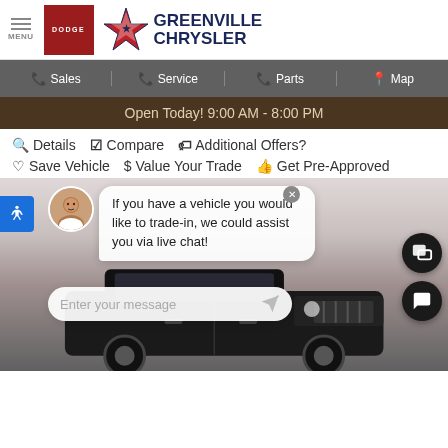MENU | DODGE | GREENVILLE CHRYSLER
Sales  Service  Parts  Map
Open Today! 9:00 AM - 8:00 PM
Details  Compare  Additional Offers?
Save Vehicle  Value Your Trade  Get Pre-Approved
[Figure (screenshot): Chat popup with avatar of a woman, chat bubble reading: If you have a vehicle you would like to trade-in, we could assist you via live chat!, and a message input field. Below is a Jeep Wrangler on a showroom floor.]